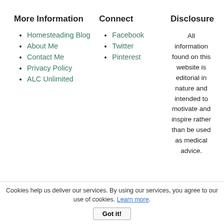More Information
Homesteading Blog
About Me
Contact Me
Privacy Policy
ALC Unlimited
Connect
Facebook
Twitter
Pinterest
Disclosure
All information found on this website is editorial in nature and intended to motivate and inspire rather than be used as medical advice.
Cookies help us deliver our services. By using our services, you agree to our use of cookies. Learn more. Got it!